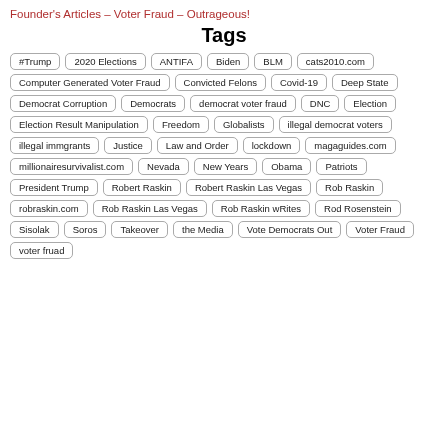Founder's Articles – Voter Fraud – Outrageous!
Tags
#Trump
2020 Elections
ANTIFA
Biden
BLM
cats2010.com
Computer Generated Voter Fraud
Convicted Felons
Covid-19
Deep State
Democrat Corruption
Democrats
democrat voter fraud
DNC
Election
Election Result Manipulation
Freedom
Globalists
illegal democrat voters
illegal immgrants
Justice
Law and Order
lockdown
magaguides.com
millionairesurvivalist.com
Nevada
New Years
Obama
Patriots
President Trump
Robert Raskin
Robert Raskin Las Vegas
Rob Raskin
robraskin.com
Rob Raskin Las Vegas
Rob Raskin wRites
Rod Rosenstein
Sisolak
Soros
Takeover
the Media
Vote Democrats Out
Voter Fraud
voter fruad